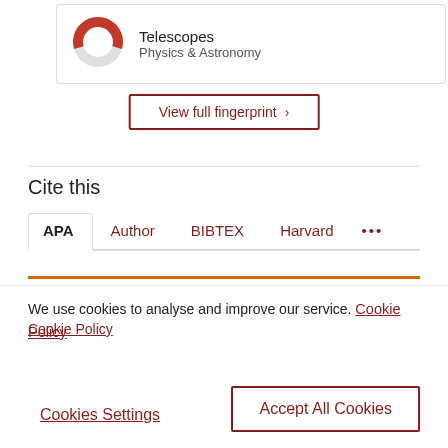[Figure (donut-chart): Donut chart thumbnail for Telescopes in Physics & Astronomy fingerprint]
Telescopes
Physics & Astronomy
View full fingerprint ›
Cite this
APA | Author | BIBTEX | Harvard | ...
We use cookies to analyse and improve our service. Cookie Policy
Cookies Settings
Accept All Cookies